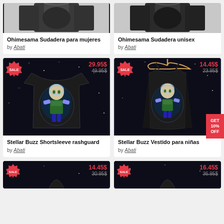[Figure (photo): Product card: Ohimesama Sudadera para mujeres by Abati - dark anime-themed hoodie for women]
[Figure (photo): Product card: Ohimesama Sudadera unisex by Abati - dark anime-themed unisex hoodie]
[Figure (photo): Product card: Stellar Buzz Shortsleeve rashguard by Abati - black t-shirt with Buzz Lightyear Funko Pop galaxy design, SALE 29.95$ (was 49.95$)]
[Figure (photo): Product card: Stellar Buzz Vestido para niñas by Abati - black dress with Buzz Lightyear Funko Pop galaxy design, SALE 14.45$ (was 23.95$)]
[Figure (photo): Partial product card bottom left: SALE 14.45$, price 30.95$]
[Figure (photo): Partial product card bottom right: SALE 16.45$, price 36.95$]